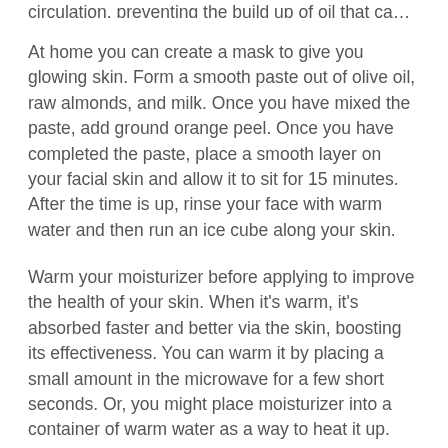circulation, preventing the build up of oil that can lead to acne.
At home you can create a mask to give you glowing skin. Form a smooth paste out of olive oil, raw almonds, and milk. Once you have mixed the paste, add ground orange peel. Once you have completed the paste, place a smooth layer on your facial skin and allow it to sit for 15 minutes. After the time is up, rinse your face with warm water and then run an ice cube along your skin.
Warm your moisturizer before applying to improve the health of your skin. When it's warm, it's absorbed faster and better via the skin, boosting its effectiveness. You can warm it by placing a small amount in the microwave for a few short seconds. Or, you might place moisturizer into a container of warm water as a way to heat it up.
Try exfoliating in the shower around three times every week. Try using a facial scrub. If you have sensitive skin, then look for an exfoliant that contains natural...